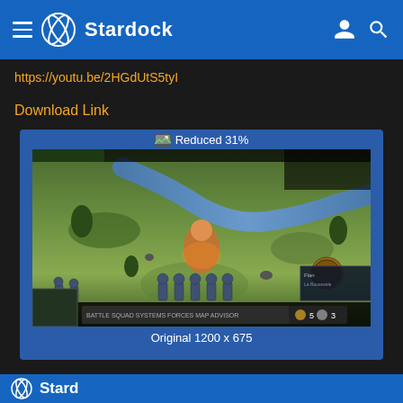Stardock
https://youtu.be/2HGdUtS5tyI
Download Link
[Figure (screenshot): Game screenshot showing a fantasy strategy game with warriors on a green field, UI elements at bottom, reduced 31% from original 1200x675]
Reduced 31%
Original 1200 x 675
Stardock